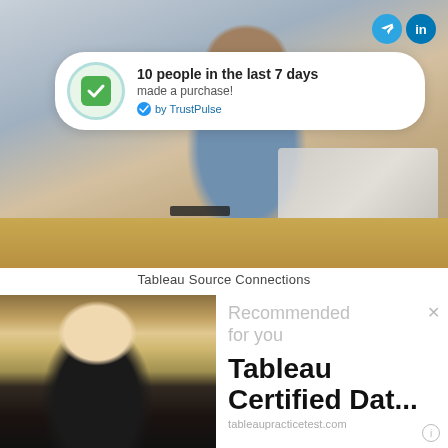[Figure (screenshot): Screenshot of a webpage showing a TrustPulse notification popup over a photo of a man working on a laptop at a wooden desk. Social media icons (Telegram, LinkedIn) visible in top right corner. The popup shows '10 people in the last 7 days made a purchase! by TrustPulse' with a green checkmark icon.]
Tableau Source Connections
[Figure (screenshot): Screenshot showing a 'Recommended for you' panel on the right side with text 'Tableau Certified Dat...' and URL 'tableaupracticetest.com', alongside a photo of a smiling blonde woman in a black outfit.]